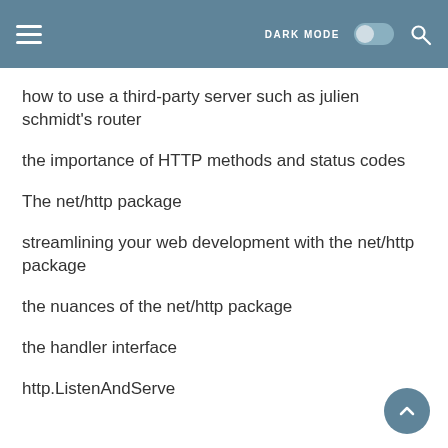DARK MODE
how to use a third-party server such as julien schmidt's router
the importance of HTTP methods and status codes
The net/http package
streamlining your web development with the net/http package
the nuances of the net/http package
the handler interface
http.ListenAndServe